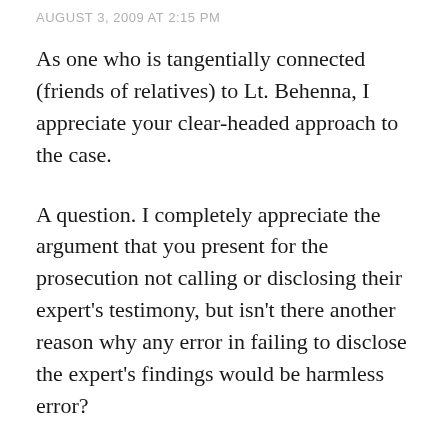AUGUST 3, 2009 AT 2:15 PM
As one who is tangentially connected (friends of relatives) to Lt. Behenna, I appreciate your clear-headed approach to the case.
A question. I completely appreciate the argument that you present for the prosecution not calling or disclosing their expert’s testimony, but isn’t there another reason why any error in failing to disclose the expert’s findings would be harmless error?